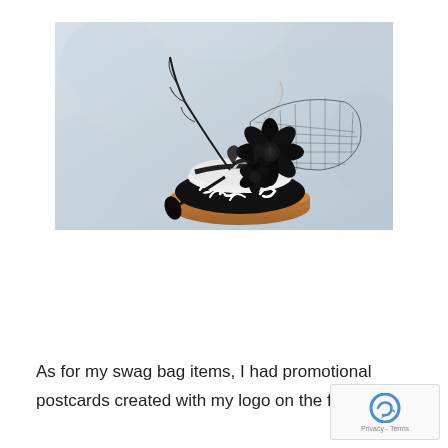[Figure (photo): A decorative fascinator hat with black and white swirl pattern base, black fabric flower, feathers, and black netting/veil, displayed on a wooden stand against a white fabric background.]
As for my swag bag items, I had promotional postcards created with my logo on the front and a